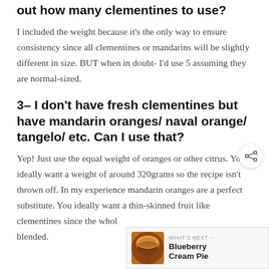out how many clementines to use?
I included the weight because it's the only way to ensure consistency since all clementines or mandarins will be slightly different in size. BUT when in doubt- I'd use 5 assuming they are normal-sized.
3– I don't have fresh clementines but have mandarin oranges/ naval orange/ tangelo/ etc. Can I use that?
Yep! Just use the equal weight of oranges or other citrus. You ideally want a weight of around 320grams so the recipe isn't thrown off. In my experience mandarin oranges are a perfect substitute. You ideally want a thin-skinned fruit like clementines since the whole blended.